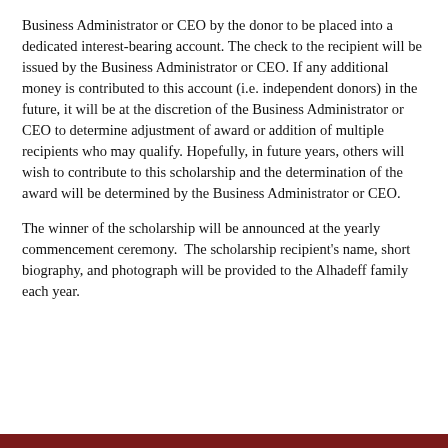Business Administrator or CEO by the donor to be placed into a dedicated interest-bearing account. The check to the recipient will be issued by the Business Administrator or CEO. If any additional money is contributed to this account (i.e. independent donors) in the future, it will be at the discretion of the Business Administrator or CEO to determine adjustment of award or addition of multiple recipients who may qualify. Hopefully, in future years, others will wish to contribute to this scholarship and the determination of the award will be determined by the Business Administrator or CEO.
The winner of the scholarship will be announced at the yearly commencement ceremony.  The scholarship recipient's name, short biography, and photograph will be provided to the Alhadeff family each year.